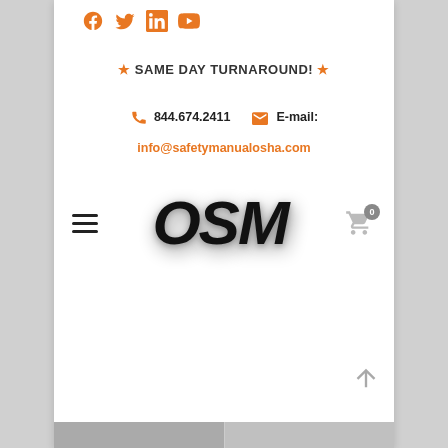[Figure (logo): Social media icons: Facebook, Twitter, LinkedIn, YouTube in orange]
★ SAME DAY TURNAROUND! ★
📞 844.674.2411   ✉ E-mail:
info@safetymanualosha.com
[Figure (logo): OSM logo in large bold black italic text with drop shadow, hamburger menu icon on left, cart icon with 0 badge on right]